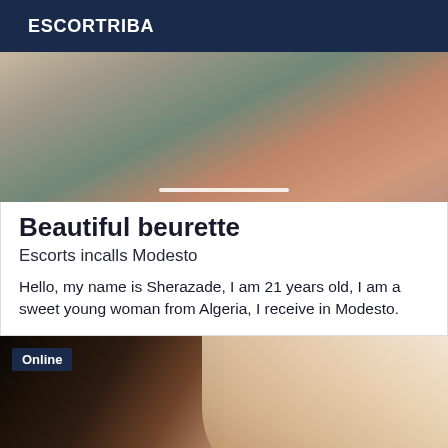ESCORTRIBA
[Figure (photo): Top partial photo showing blurred background with wall and surface]
Beautiful beurette
Escorts incalls Modesto
Hello, my name is Sherazade, I am 21 years old, I am a sweet young woman from Algeria, I receive in Modesto.
[Figure (photo): Photo of a young woman with dark hair and makeup, with an Online badge overlay in the top left corner]